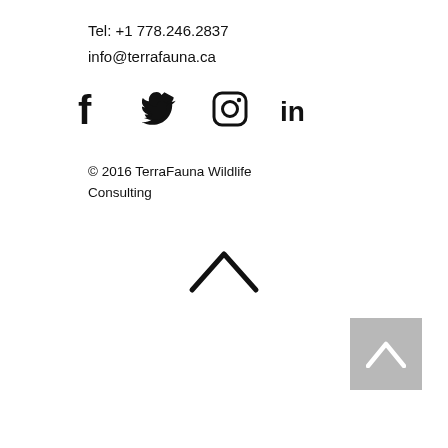Tel: +1 778.246.2837
info@terrafauna.ca
[Figure (illustration): Social media icons: Facebook, Twitter, Instagram, LinkedIn]
© 2016 TerraFauna Wildlife Consulting
[Figure (illustration): Upward chevron / back to top arrow in center]
[Figure (illustration): Grey back-to-top button with white chevron, bottom right corner]